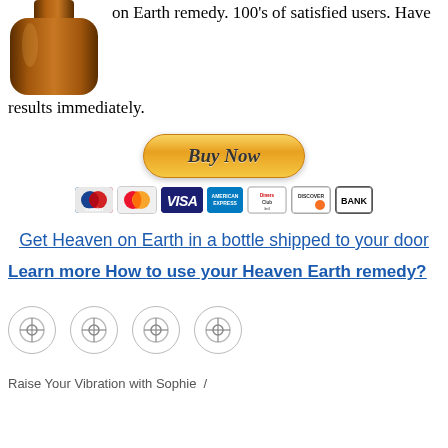[Figure (photo): Amber glass bottle (supplement/remedy bottle), partial view showing top portion]
on Earth remedy. 100's of satisfied users. Have results immediately.
[Figure (screenshot): PayPal Buy Now button (yellow/gold rounded rectangle) with payment icons below: Maestro, Mastercard, Visa, American Express, Diners Club, Discover, BANK]
Get Heaven on Earth in a bottle shipped to your door
Learn more How to use your Heaven Earth remedy?
[Figure (logo): Four circular social media share/follow icons in a row]
Raise Your Vibration with Sophie  /